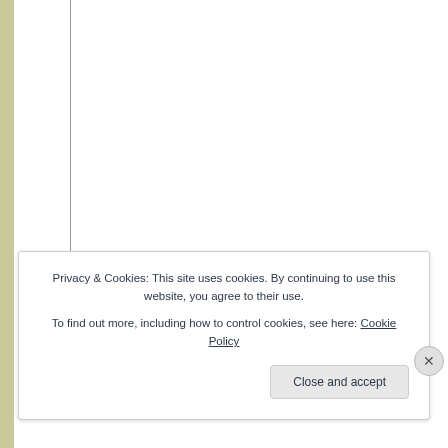[Figure (screenshot): Webpage background with left olive/green sidebar strip and a vertical divider line. Page content area is mostly blank/white.]
Privacy & Cookies: This site uses cookies. By continuing to use this website, you agree to their use.
To find out more, including how to control cookies, see here: Cookie Policy
Close and accept